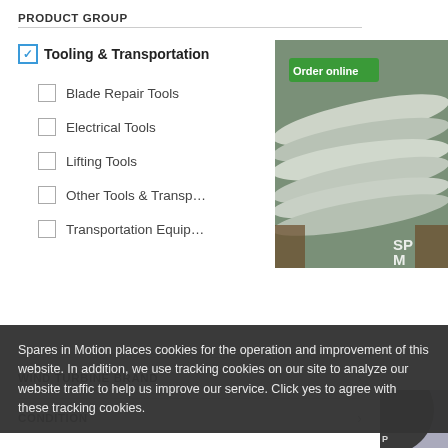PRODUCT GROUP
✓ Tooling & Transportation
Blade Repair Tools (1)
Electrical Tools (1)
Lifting Tools (3)
Other Tools & Transp… (2)
Transportation Equip… (2)
[Figure (photo): Wind turbine blades stacked horizontally in storage with 'Order online' green badge overlay and partial text 'SP' and 'M' visible]
WIND TURBINE BRAND
CONDITION
[Figure (photo): Dark circular object, partial product image]
Spares in Motion places cookies for the operation and improvement of this website. In addition, we use tracking cookies on our site to analyze our website traffic to help us improve our service. Click yes to agree with these tracking cookies.